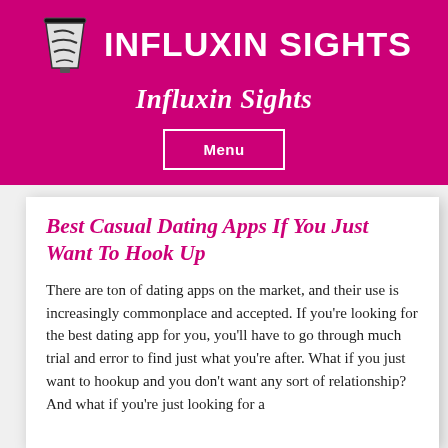INFLUXIN SIGHTS
Influxin Sights
Best Casual Dating Apps If You Just Want To Hook Up
There are ton of dating apps on the market, and their use is increasingly commonplace and accepted. If you’re looking for the best dating app for you, you’ll have to go through much trial and error to find just what you’re after. What if you just want to hookup and you don’t want any sort of relationship? And what if you’re just looking for a